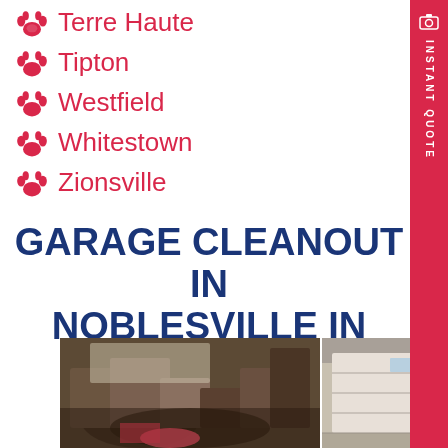🐾 Terre Haute
🐾 Tipton
🐾 Westfield
🐾 Whitestown
🐾 Zionsville
GARAGE CLEANOUT IN NOBLESVILLE IN
[Figure (photo): Before and after photos of a garage cleanout: left shows a cluttered, packed garage; right shows a clean empty garage with white door.]